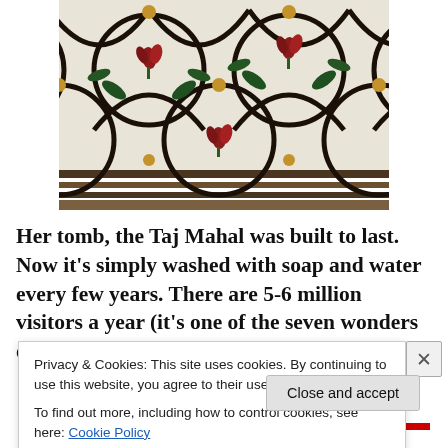[Figure (photo): Close-up photograph of decorative marble inlay work on the Taj Mahal, showing ornate floral and geometric patterns with dark outlines, red and green flower motifs on white marble background.]
Her tomb, the Taj Mahal was built to last. Now it's simply washed with soap and water every few years. There are 5-6 million visitors a year (it's one of the seven wonders of
Privacy & Cookies: This site uses cookies. By continuing to use this website, you agree to their use.
To find out more, including how to control cookies, see here: Cookie Policy
Close and accept